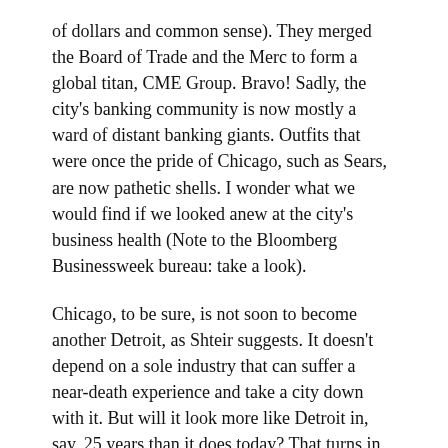of dollars and common sense). They merged the Board of Trade and the Merc to form a global titan, CME Group. Bravo! Sadly, the city's banking community is now mostly a ward of distant banking giants. Outfits that were once the pride of Chicago, such as Sears, are now pathetic shells. I wonder what we would find if we looked anew at the city's business health (Note to the Bloomberg Businessweek bureau: take a look).
Chicago, to be sure, is not soon to become another Detroit, as Shteir suggests. It doesn't depend on a sole industry that can suffer a near-death experience and take a city down with it. But will it look more like Detroit in, say, 25 years than it does today? That turns in part on whether the city can solve the problems people like Shteir have the guts to bring up, no matter what abuse they suffer for doing that.